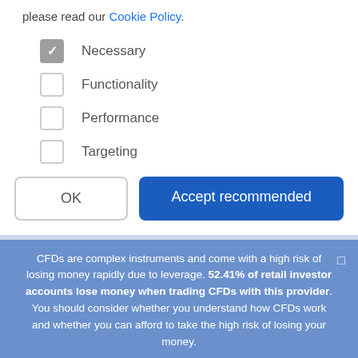please read our Cookie Policy.
Necessary (checked)
Functionality
Performance
Targeting
OK | Accept recommended
CFDs are complex instruments and come with a high risk of losing money rapidly due to leverage. 52.41% of retail investor accounts lose money when trading CFDs with this provider. You should consider whether you understand how CFDs work and whether you can afford to take the high risk of losing your money.